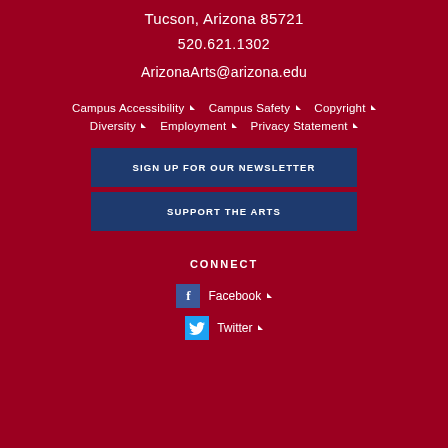Tucson, Arizona 85721
520.621.1302
ArizonaArts@arizona.edu
Campus Accessibility
Campus Safety
Copyright
Diversity
Employment
Privacy Statement
SIGN UP FOR OUR NEWSLETTER
SUPPORT THE ARTS
CONNECT
Facebook
Twitter